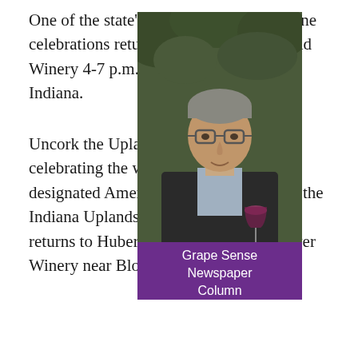One of the state's best, if not the best, wine celebrations returns to Huber Orchard and Winery 4-7 p.m., July 25 in southern Indiana.
Uncork the Uplands is in its fifth year celebrating the wines of Indiana's only designated American Viticultural Area – the Indiana Uplands. The annual celebration returns to Huber's after two years at Oliver Winery near Bloomington.
[Figure (photo): Photo of a man wearing glasses and a dark jacket, holding a glass of red wine, with greenery in the background. Below the photo is a purple banner reading 'Grape Sense Newspaper Column'.]